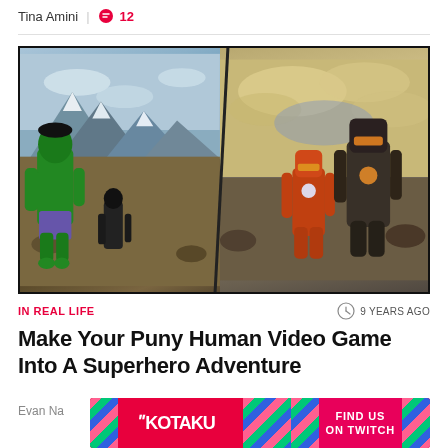Tina Amini | 12
[Figure (photo): Split image: left side shows the Hulk (green) character in a Skyrim-like snowy mountain game environment with a smaller dark-armored figure; right side shows two Iron Man armored figures in a rocky outdoor game environment with dramatic sky.]
IN REAL LIFE
9 YEARS AGO
Make Your Puny Human Video Game Into A Superhero Adventure
Evan Na
[Figure (infographic): Kotaku advertisement banner: red background with Kotaku logo on the left, striped diagonal pattern in the middle, and 'FIND US ON TWITCH' text on the right with striped corners.]